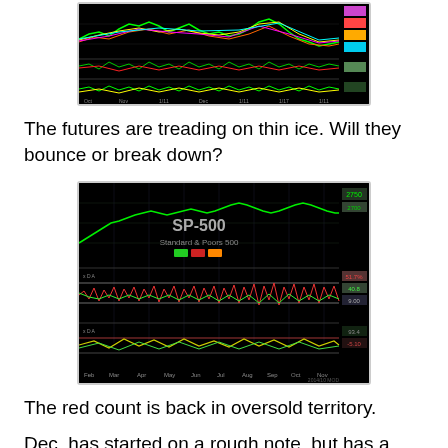[Figure (screenshot): Trading chart screenshot showing futures/market data with colored lines on black background, multiple indicator panels]
The futures are treading on thin ice.  Will they bounce or break down?
[Figure (screenshot): SP-500 Standard & Poors 500 trading chart with green price line, oscillator panels showing red count in oversold territory, time axis from Feb through Nov]
The red count is back in oversold territory.
Dec. has started on a rough note, but has a history of reversing during the second half.  Will history repeat or is the